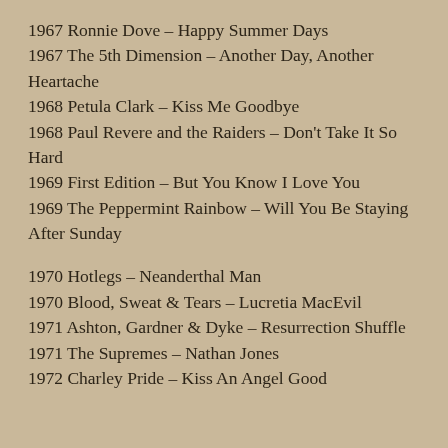1967 Ronnie Dove – Happy Summer Days
1967 The 5th Dimension – Another Day, Another Heartache
1968 Petula Clark – Kiss Me Goodbye
1968 Paul Revere and the Raiders – Don't Take It So Hard
1969 First Edition – But You Know I Love You
1969 The Peppermint Rainbow – Will You Be Staying After Sunday
1970 Hotlegs – Neanderthal Man
1970 Blood, Sweat & Tears – Lucretia MacEvil
1971 Ashton, Gardner & Dyke – Resurrection Shuffle
1971 The Supremes – Nathan Jones
1972 Charley Pride – Kiss An Angel Good